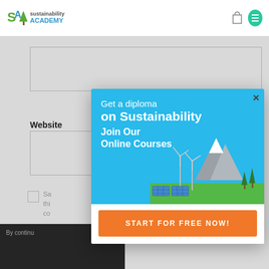Sustainability Academy
[Figure (screenshot): Website comment form with input boxes, checkbox, and dark bottom bar partially visible behind modal overlay]
Website
[Figure (infographic): Modal popup advertisement: 'Get a diploma on Sustainability – Join Our Online Courses' with wind turbines, solar panels, mountains illustration on blue background, and orange 'START FOR FREE NOW!' button at the bottom]